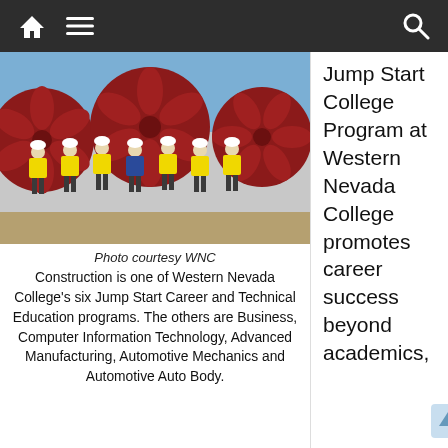Navigation bar with home, menu, and search icons
[Figure (photo): Group of people in yellow safety vests and white hard hats standing in front of large red industrial fan/turbine structures outdoors on a construction site.]
Photo courtesy WNC
Construction is one of Western Nevada College's six Jump Start Career and Technical Education programs. The others are Business, Computer Information Technology, Advanced Manufacturing, Automotive Mechanics and Automotive Auto Body.
Jump Start College Program at Western Nevada College promotes career success beyond academics,